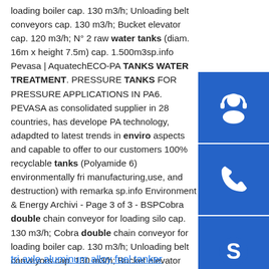loading boiler cap. 130 m3/h; Unloading belt conveyors cap. 130 m3/h; Bucket elevator cap. 120 m3/h; N° 2 raw water tanks (diam. 16m x height 7.5m) cap. 1.500m3sp.info Pevasa | AquatechECO-PA TANKS WATER TREATMENT. PRESSURE TANKS FOR PRESSURE APPLICATIONS IN PA6. PEVASA as consolidated supplier in 28 countries, has developed PA technology, adapdted to latest trends in environmental aspects and capable to offer to our customers 100% recyclable tanks (Polyamide 6) environmentally friendly manufacturing,use, and destruction) with remarkable sp.info Environment & Energy Archivi - Page 3 of 3 - BSPCobra double chain conveyor for loading silo cap. 130 m3/h; Cobra double chain conveyor for loading boiler cap. 130 m3/h; Unloading belt conveyors cap. 130 m3/h; Bucket elevator cap. 120 m3/h; N° 2 raw water tanks (diam. 16m x height 7.5m) cap. 1.500m3
tri axle aluminum alloy fuel tanker